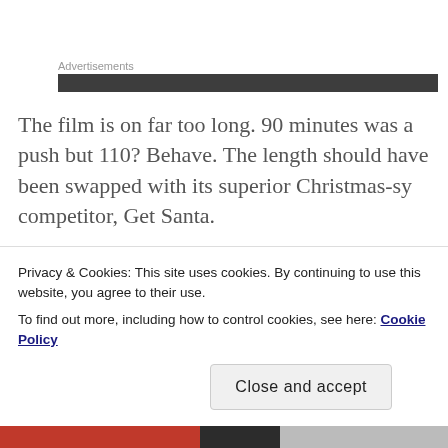Advertisements
The film is on far too long. 90 minutes was a push but 110? Behave. The length should have been swapped with its superior Christmas-sy competitor, Get Santa.
Adam Garcia played the panto villain well but his dancing was terrible. What was his profession again? A renowned dancer? Not from this. Ralf Little was
Privacy & Cookies: This site uses cookies. By continuing to use this website, you agree to their use.
To find out more, including how to control cookies, see here: Cookie Policy
Close and accept